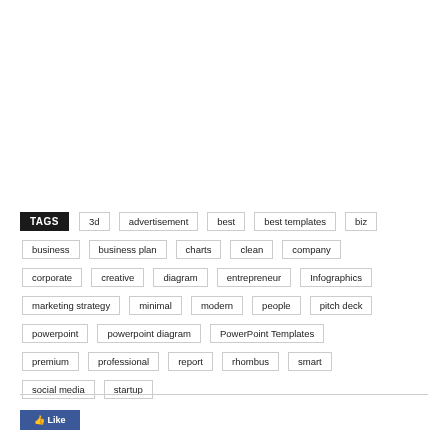TAGS: 3d, advertisement, best, best templates, biz, business, business plan, charts, clean, company, corporate, creative, diagram, entrepreneur, Infographics, marketing strategy, minimal, modern, people, pitch deck, powerpoint, powerpoint diagram, PowerPoint Templates, premium, professional, report, rhombus, smart, social media, startup